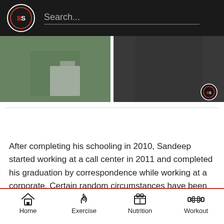BS Search...
[Figure (photo): Two side-by-side photos: left shows a person in grey shorts holding a paper, right shows a person's lower torso in black shorts with a BS logo watermark]
Sep 02, 2020
After completing his schooling in 2010, Sandeep started working at a call center in 2011 and completed his graduation by correspondence while working at a corporate. Certain random circumstances have been Sandeep's biggest inspiration. He joined gym back in 2010 just because he was sent to the kids' section by a shopkeeper. He was 19-year-old, but so skinny that the
Home  Exercise  Nutrition  Workout